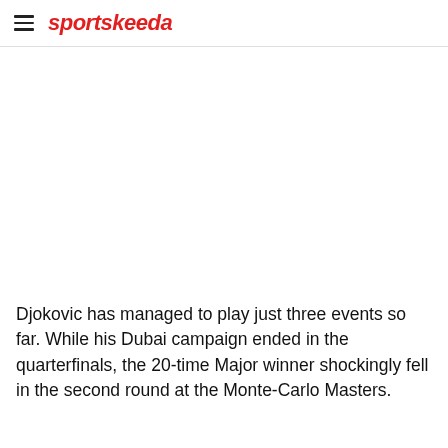sportskeeda
[Figure (photo): Image placeholder area, white/blank]
Djokovic has managed to play just three events so far. While his Dubai campaign ended in the quarterfinals, the 20-time Major winner shockingly fell in the second round at the Monte-Carlo Masters.